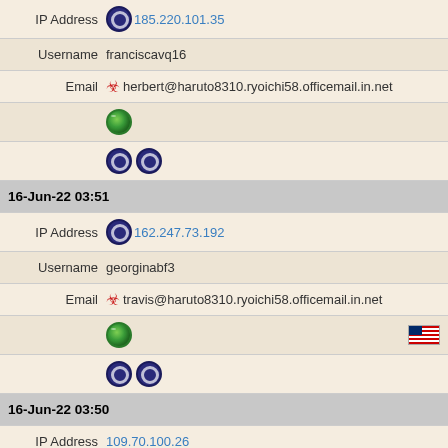| IP Address | 185.220.101.35 |
| Username | franciscavq16 |
| Email | herbert@haruto8310.ryoichi58.officemail.in.net |
| (globe icon) |  |
| (tor icons) |  |
| 16-Jun-22 03:51 |  |
| IP Address | 162.247.73.192 |
| Username | georginabf3 |
| Email | travis@haruto8310.ryoichi58.officemail.in.net |
| (globe icon) | (US flag) |
| (tor icons) |  |
| 16-Jun-22 03:50 |  |
| IP Address | 109.70.100.26 |
| Username | cathleenuo60 |
| Email | frances@haruto8310.ryoichi58.officemail.in.net |
| (globe icon) | (AT flag) |
| (tor icons) |  |